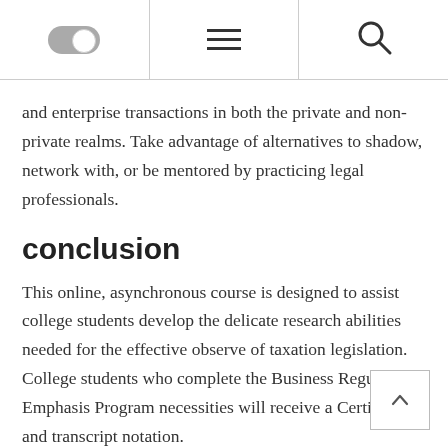[Navigation bar with toggle, hamburger menu, and search icon]
and enterprise transactions in both the private and non-private realms. Take advantage of alternatives to shadow, network with, or be mentored by practicing legal professionals.
conclusion
This online, asynchronous course is designed to assist college students develop the delicate research abilities needed for the effective observe of taxation legislation. College students who complete the Business Regulation Emphasis Program necessities will receive a Certificate and transcript notation.